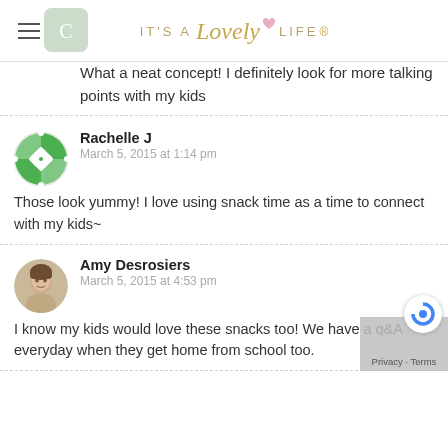It's A Lovely Life
What a neat concept! I definitely look for more talking points with my kids
Rachelle J
March 5, 2015 at 1:14 pm
Those look yummy! I love using snack time as a time to connect with my kids~
Amy Desrosiers
March 5, 2015 at 4:53 pm
I know my kids would love these snacks too! We have a q&A everyday when they get home from school too.